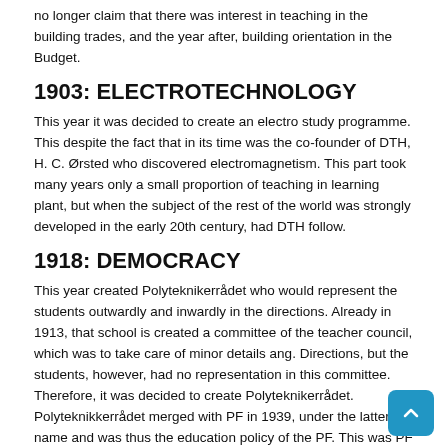no longer claim that there was interest in teaching in the building trades, and the year after, building orientation in the Budget.
1903: ELECTROTECHNOLOGY
This year it was decided to create an electro study programme. This despite the fact that in its time was the co-founder of DTH, H. C. Ørsted who discovered electromagnetism. This part took many years only a small proportion of teaching in learning plant, but when the subject of the rest of the world was strongly developed in the early 20th century, had DTH follow.
1918: DEMOCRACY
This year created Polyteknikerrådet who would represent the students outwardly and inwardly in the directions. Already in 1913, that school is created a committee of the teacher council, which was to take care of minor details ang. Directions, but the students, however, had no representation in this committee. Therefore, it was decided to create Polyteknikerrådet. Polyteknikkerrådet merged with PF in 1939, under the latter's name and was thus the education policy of the PF. This was PF a convivial association and a student political association without party affiliation.
1957: COLLEGE ENGINEER